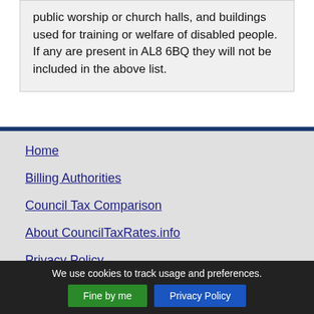public worship or church halls, and buildings used for training or welfare of disabled people. If any are present in AL8 6BQ they will not be included in the above list.
Home
Billing Authorities
Council Tax Comparison
About CouncilTaxRates.info
Privacy Policy
We use cookies to track usage and preferences.